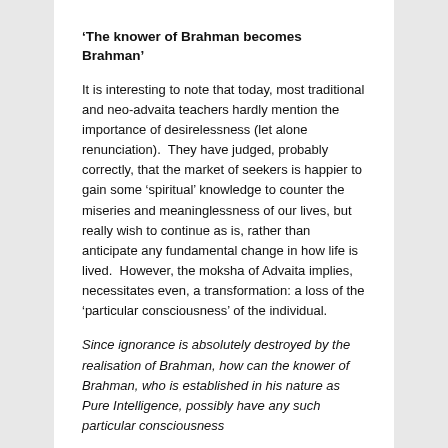‘The knower of Brahman becomes Brahman’
It is interesting to note that today, most traditional and neo-advaita teachers hardly mention the importance of desirelessness (let alone renunciation).  They have judged, probably correctly, that the market of seekers is happier to gain some ‘spiritual’ knowledge to counter the miseries and meaninglessness of our lives, but really wish to continue as is, rather than anticipate any fundamental change in how life is lived.  However, the moksha of Advaita implies, necessitates even, a transformation: a loss of the ‘particular consciousness’ of the individual.
Since ignorance is absolutely destroyed by the realisation of Brahman, how can the knower of Brahman, who is established in his nature as Pure Intelligence, possibly have any such particular consciousness
– Brhadaranyka Up Bhasya 2.4.12
O Gautama, as pure water poured on pure water